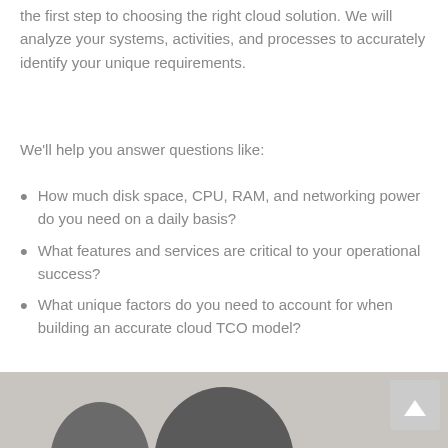the first step to choosing the right cloud solution. We will analyze your systems, activities, and processes to accurately identify your unique requirements.
We'll help you answer questions like:
How much disk space, CPU, RAM, and networking power do you need on a daily basis?
What features and services are critical to your operational success?
What unique factors do you need to account for when building an accurate cloud TCO model?
[Figure (photo): Bottom portion of a photo showing a person, partially visible, with a scroll-to-top button overlay in the bottom-right corner.]